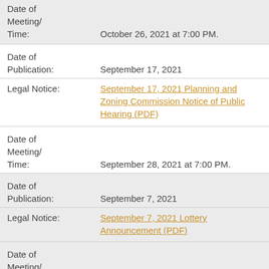Date of Meeting/ Time: October 26, 2021 at 7:00 PM.
Date of Publication: September 17, 2021
Legal Notice: September 17, 2021 Planning and Zoning Commission Notice of Public Hearing (PDF)
Date of Meeting/ Time: September 28, 2021 at 7:00 PM.
Date of Publication: September 7, 2021
Legal Notice: September 7, 2021 Lottery Announcement (PDF)
Date of Meeting/ Time: September 14, 2021 at 9:30 AM
Date of